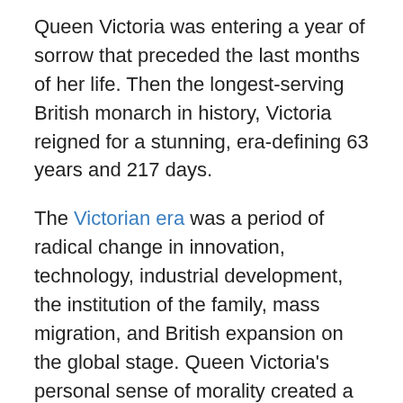Queen Victoria was entering a year of sorrow that preceded the last months of her life. Then the longest-serving British monarch in history, Victoria reigned for a stunning, era-defining 63 years and 217 days.
The Victorian era was a period of radical change in innovation, technology, industrial development, the institution of the family, mass migration, and British expansion on the global stage. Queen Victoria's personal sense of morality created a culture of restraint in tension–and sometimes in cooperation–with religious revivalism and activism, an expansion of higher education, early critical moments in women's liberation, and the slow redefinition of class in England.
In terms of legacy, the Victorian era gave us Dickens, Tennyson, Wordsworth, Eliot, the Brontës, Wilde, Hardy,